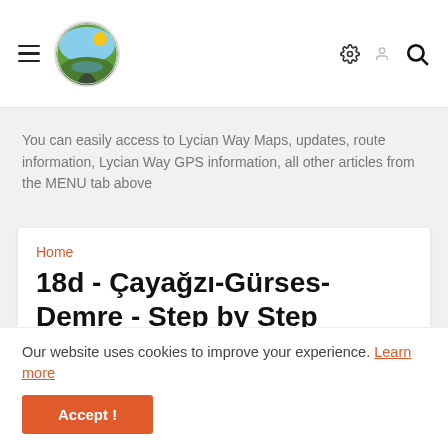Navigation header with hamburger menu, logo, settings icon, user icon, and search icon
You can easily access to Lycian Way Maps, updates, route information, Lycian Way GPS information, all other articles from the MENU tab above
Home
18d - Çayağzı-Gürses-Demre - Step by Step Lycian Way
This webpage is linked/generated by QR Code for Lycian Way, Step-by-Step Lycian
Our website uses cookies to improve your experience. Learn more
Accept !